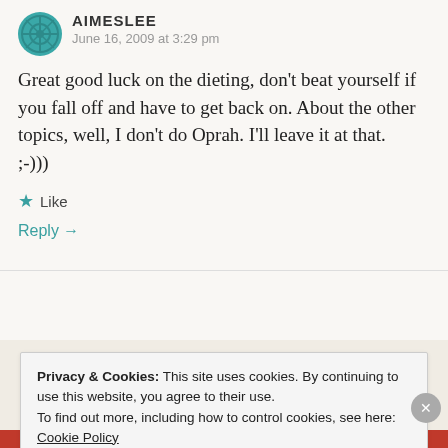AIMESLEE
June 16, 2009 at 3:29 pm
Great good luck on the dieting, don't beat yourself if you fall off and have to get back on. About the other topics, well, I don't do Oprah. I'll leave it at that. ;-)))
★ Like
Reply →
Privacy & Cookies: This site uses cookies. By continuing to use this website, you agree to their use.
To find out more, including how to control cookies, see here: Cookie Policy
Close and accept